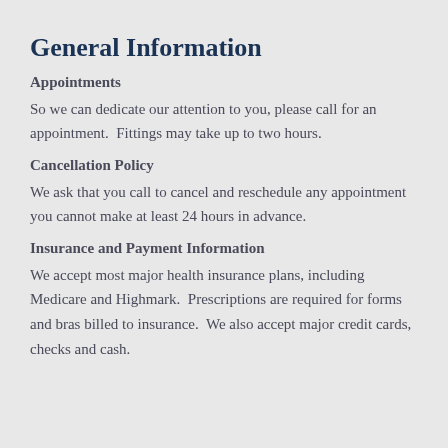General Information
Appointments
So we can dedicate our attention to you, please call for an appointment.  Fittings may take up to two hours.
Cancellation Policy
We ask that you call to cancel and reschedule any appointment you cannot make at least 24 hours in advance.
Insurance and Payment Information
We accept most major health insurance plans, including Medicare and Highmark.  Prescriptions are required for forms and bras billed to insurance.  We also accept major credit cards, checks and cash.